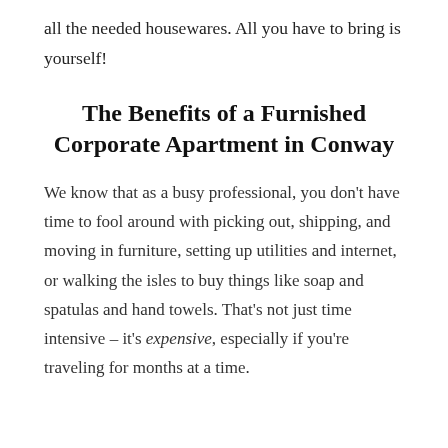all the needed housewares. All you have to bring is yourself!
The Benefits of a Furnished Corporate Apartment in Conway
We know that as a busy professional, you don't have time to fool around with picking out, shipping, and moving in furniture, setting up utilities and internet, or walking the isles to buy things like soap and spatulas and hand towels. That's not just time intensive – it's expensive, especially if you're traveling for months at a time.